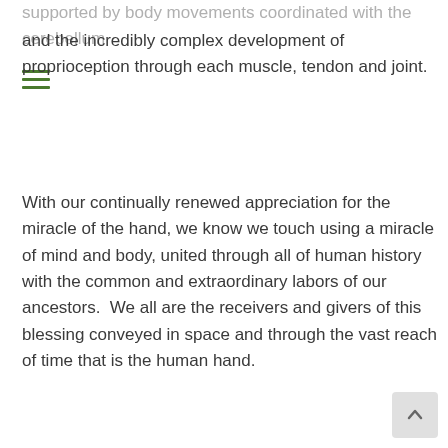supported by body movements coordinated with the cerebellum and the incredibly complex development of proprioception through each muscle, tendon and joint.
With our continually renewed appreciation for the miracle of the hand, we know we touch using a miracle of mind and body, united through all of human history with the common and extraordinary labors of our ancestors.  We all are the receivers and givers of this blessing conveyed in space and through the vast reach of time that is the human hand.